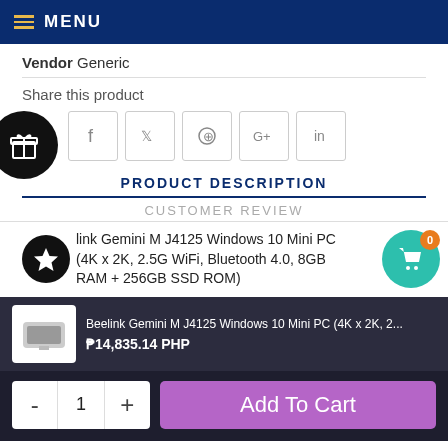MENU
Vendor Generic
Share this product
[Figure (other): Social sharing icons: Facebook, Twitter, Pinterest, Google+, LinkedIn]
PRODUCT DESCRIPTION
CUSTOMER REVIEW
Beelink Gemini M J4125 Windows 10 Mini PC (4K x 2K, 2.5G WiFi, Bluetooth 4.0, 8GB RAM + 256GB SSD ROM)
Beelink Gemini M J4125 Windows 10 Mini PC (4K x 2K, ...) ₱14,835.14 PHP
Add To Cart